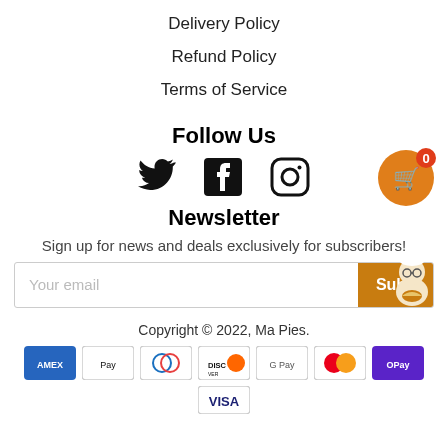Delivery Policy
Refund Policy
Terms of Service
Follow Us
[Figure (infographic): Social media icons: Twitter bird, Facebook F, Instagram camera]
[Figure (infographic): Orange shopping cart button with 0 badge]
Newsletter
Sign up for news and deals exclusively for subscribers!
[Figure (infographic): Email input field with 'Your email' placeholder and orange Subscribe button, mascot illustration]
Copyright © 2022, Ma Pies.
[Figure (infographic): Payment icons: AMEX, Apple Pay, Diners Club, Discover, Google Pay, Mastercard, OPay, Visa]